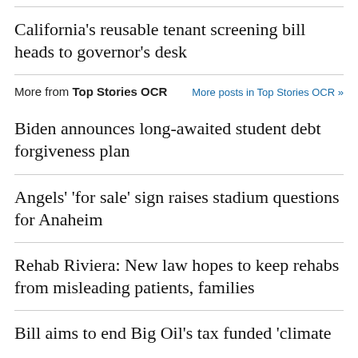California's reusable tenant screening bill heads to governor's desk
More from Top Stories OCR   More posts in Top Stories OCR »
Biden announces long-awaited student debt forgiveness plan
Angels' 'for sale' sign raises stadium questions for Anaheim
Rehab Riviera: New law hopes to keep rehabs from misleading patients, families
Bill aims to end Big Oil's tax funded 'climate